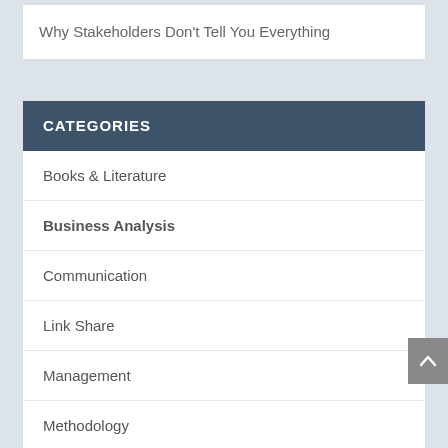Why Stakeholders Don't Tell You Everything
CATEGORIES
Books & Literature
Business Analysis
Communication
Link Share
Management
Methodology
Miscellanea